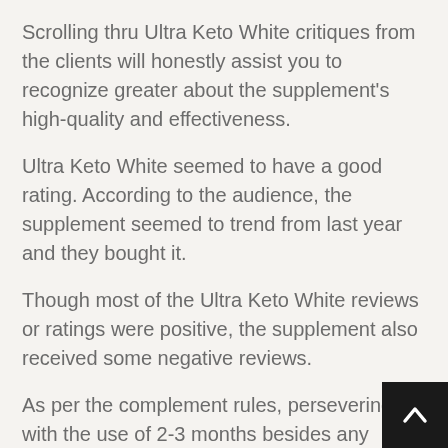Scrolling thru Ultra Keto White critiques from the clients will honestly assist you to recognize greater about the supplement's high-quality and effectiveness.
Ultra Keto White seemed to have a good rating. According to the audience, the supplement seemed to trend from last year and they bought it.
Though most of the Ultra Keto White reviews or ratings were positive, the supplement also received some negative reviews.
As per the complement rules, persevering with the use of 2-3 months besides any intermittent breaks is the first component you observe when you use Ultra Keto White. So, the use of the weight loss tablet in a single day t exhibit any result. Therefore Ultra Keto White